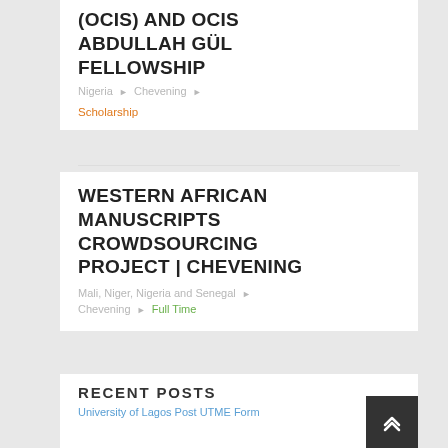(OCIS) AND OCIS ABDULLAH GÜL FELLOWSHIP
Nigeria ▶ Chevening ▶
Scholarship
WESTERN AFRICAN MANUSCRIPTS CROWDSOURCING PROJECT | CHEVENING
Mali, Niger, Nigeria and Senegal ▶
Chevening ▶ Full Time
RECENT POSTS
University of Lagos Post UTME Form